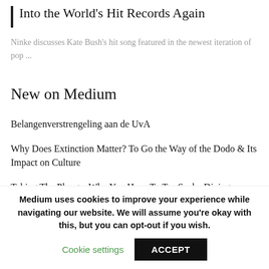Into the World's Hit Records Again
Ninke discusses Kate Bush's hit song featured in the newest iteration of pop ...
New on Medium
Belangenverstrengeling aan de UvA
Why Does Extinction Matter? To Go the Way of the Dodo & Its Impact on Culture
Taking The Plunge: Why You Have To Try Scuba Diving
For Each Coke Bought, One Shark Killed? – Coca Cola the
Medium uses cookies to improve your experience while navigating our website. We will assume you're okay with this, but you can opt-out if you wish.
Cookie settings    ACCEPT